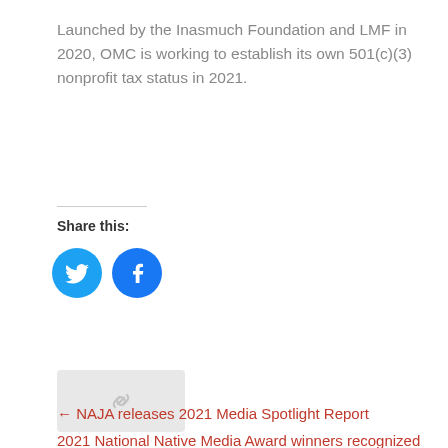Launched by the Inasmuch Foundation and LMF in 2020, OMC is working to establish its own 501(c)(3) nonprofit tax status in 2021.
Share this:
[Figure (illustration): Twitter bird icon in a cyan/blue circle]
[Figure (illustration): Facebook 'f' icon in a blue circle]
[Figure (illustration): Gray placeholder image with a link/chain icon]
← NAJA releases 2021 Media Spotlight Report
2021 National Native Media Award winners recognized